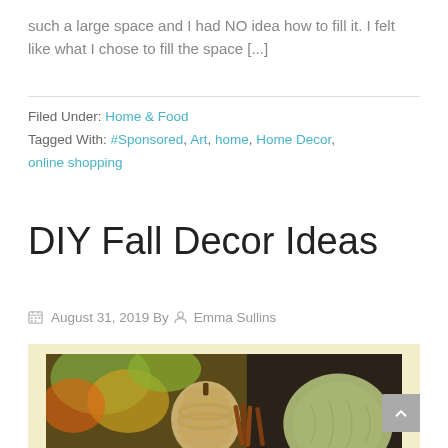such a large space and I had NO idea how to fill it. I felt like what I chose to fill the space [...]
Filed Under: Home & Food
Tagged With: #Sponsored, Art, home, Home Decor, online shopping
DIY Fall Decor Ideas
August 31, 2019 By Emma Sullins
[Figure (photo): Fall decor items including twine-wrapped pumpkins, cinnamon sticks, and a green pumpkin with autumn leaves in the background]